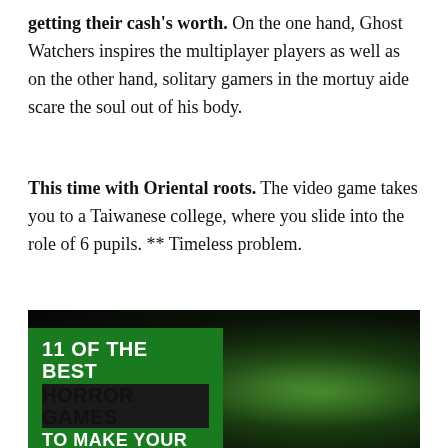getting their cash's worth. On the one hand, Ghost Watchers inspires the multiplayer players as well as on the other hand, solitary gamers in the mortuy aide scare the soul out of his body.
This time with Oriental roots. The video game takes you to a Taiwanese college, where you slide into the role of 6 pupils. ** Timeless problem.
[Figure (photo): Dark horror-themed image with green illumination showing a frightened person in a space helmet/suit on the right, and a green overlay box on the left with text '11 OF THE BEST HORROR GAMES TO MAKE YOUR SPINE QUIVER']